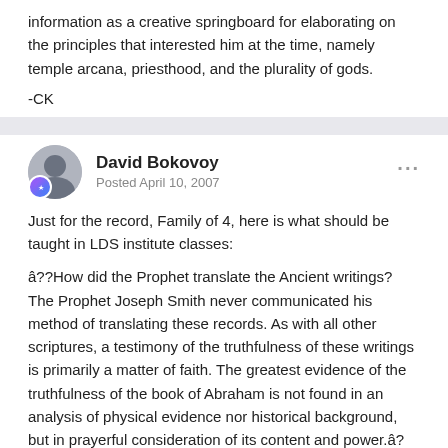information as a creative springboard for elaborating on the principles that interested him at the time, namely temple arcana, priesthood, and the plurality of gods.
-CK
David Bokovoy
Posted April 10, 2007
Just for the record, Family of 4, here is what should be taught in LDS institute classes:
â??How did the Prophet translate the Ancient writings? The Prophet Joseph Smith never communicated his method of translating these records. As with all other scriptures, a testimony of the truthfulness of these writings is primarily a matter of faith. The greatest evidence of the truthfulness of the book of Abraham is not found in an analysis of physical evidence nor historical background, but in prayerful consideration of its content and power.â? The Pearl of Great Price Student Manual